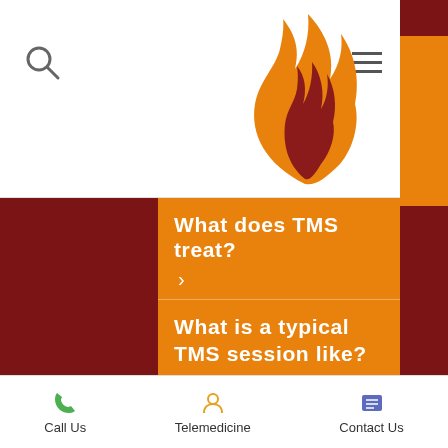[Figure (logo): Flame logo in orange and dark red, representing a medical/TMS clinic brand]
What does TMS treat?
What is a typical TMS session like?
How long does TMS take to start working?
Call Us   Telemedicine   Contact Us